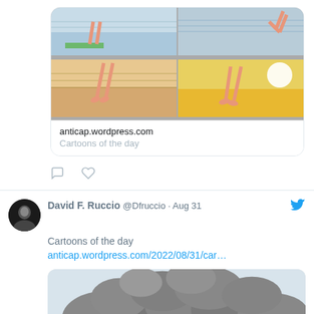[Figure (screenshot): Comic strip showing a diver in 4 panels, link preview for anticap.wordpress.com Cartoons of the day]
anticap.wordpress.com
Cartoons of the day
[Figure (screenshot): Twitter/X action icons: comment and like]
[Figure (screenshot): Second tweet by David F. Ruccio @Dfruccio · Aug 31, with storm cartoon image]
David F. Ruccio @Dfruccio · Aug 31
Cartoons of the day
anticap.wordpress.com/2022/08/31/car…
[Figure (illustration): Storm cloud cartoon with dark clouds and rain]